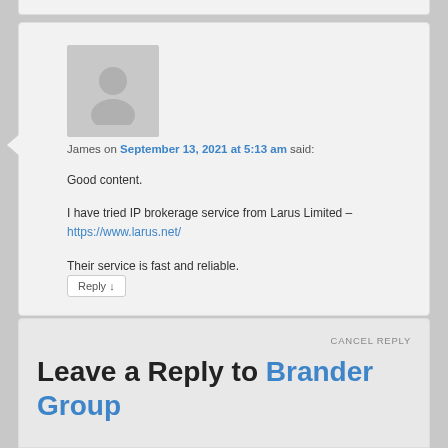James on September 13, 2021 at 5:13 am said:
Good content.

I have tried IP brokerage service from Larus Limited – https://www.larus.net/

Their service is fast and reliable.
Reply ↓
Leave a Reply to Brander Group
CANCEL REPLY